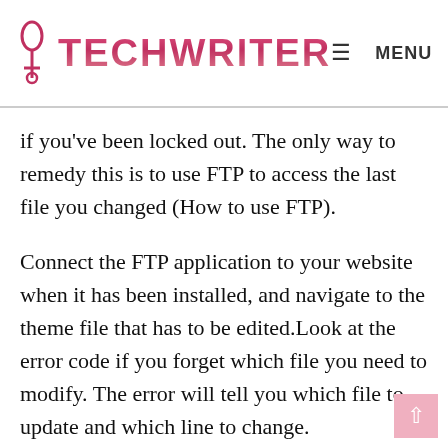TECHWRITER — MENU [search]
if you've been locked out. The only way to remedy this is to use FTP to access the last file you changed (How to use FTP).
Connect the FTP application to your website when it has been installed, and navigate to the theme file that has to be edited.Look at the error code if you forget which file you need to modify. The error will tell you which file to update and which line to change.
You have the option of removing the code you just added or rewriting it in proper syntax. Save the file and submit it back to your server once you've finished removing or